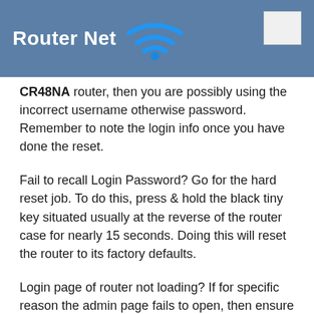Router Net
CR48NA router, then you are possibly using the incorrect username otherwise password. Remember to note the login info once you have done the reset.
Fail to recall Login Password? Go for the hard reset job. To do this, press & hold the black tiny key situated usually at the reverse of the router case for nearly 15 seconds. Doing this will reset the router to its factory defaults.
Login page of router not loading? If for specific reason the admin page fails to open, then ensure that the gadget you are using is fixed to the Wi-Fi. You may even search what is the exact IP address that has been set as default for the router.